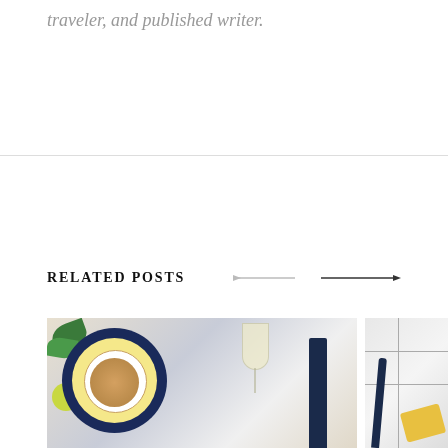traveler, and published writer.
RELATED POSTS
[Figure (photo): Food photography showing a risotto dish on a dark blue and yellow plate, with a wine glass, dark bottle, green leaves and lime slices on a white background]
[Figure (photo): Partial view of a marble tile surface with dark utensil and yellow cheese]